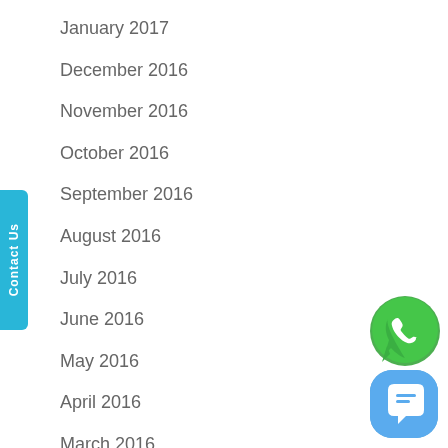January 2017
December 2016
November 2016
October 2016
September 2016
August 2016
July 2016
June 2016
May 2016
April 2016
March 2016
February 2016
January 2016
December 2015
November 2015
[Figure (logo): WhatsApp green phone icon]
[Figure (logo): Blue chat bubble icon with white speech bubble symbol]